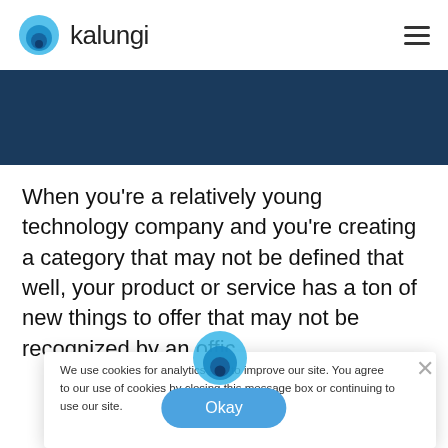kalungi
[Figure (illustration): Dark navy blue banner/hero image area]
When you’re a relatively young technology company and you’re creating a category that may not be defined that well, your product or service has a ton of new things to offer that may not be recognized by an offic
[Figure (illustration): Cookie consent popup overlay with Kalungi logo icon and close (X) button. Contains cookie notice text and Okay button.]
We use cookies for analytics and to improve our site. You agree to our use of cookies by closing this message box or continuing to use our site.